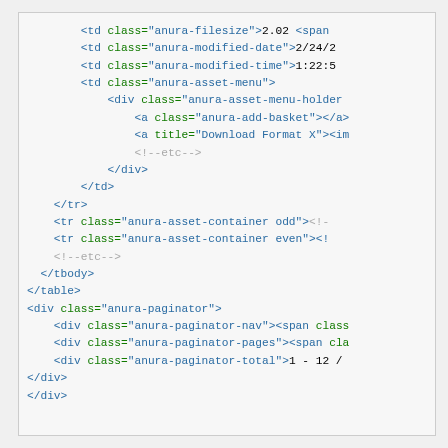Code block showing HTML snippet with anura CSS class names including anura-filesize, anura-modified-date, anura-modified-time, anura-asset-menu, anura-asset-menu-holder, anura-add-basket, anura-asset-container, anura-paginator, anura-paginator-nav, anura-paginator-pages, anura-paginator-total